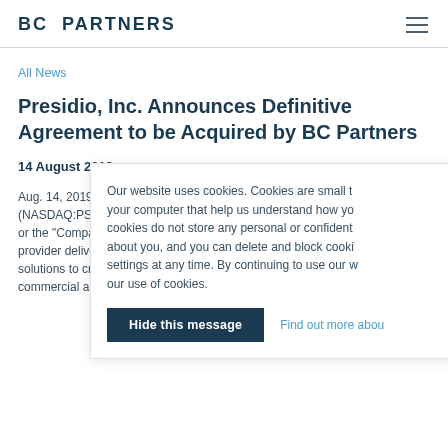BC PARTNERS
All News
Presidio, Inc. Announces Definitive Agreement to be Acquired by BC Partners
14 August 2019
Aug. 14, 2019 (GLO… (NASDAQ:PSDO) … or the "Company") … provider delivering … solutions to create … commercial and p…
Our website uses cookies. Cookies are small t… your computer that help us understand how yo… cookies do not store any personal or confident… about you, and you can delete and block cooki… settings at any time. By continuing to use our w… our use of cookies.
Hide this message
Find out more abou…